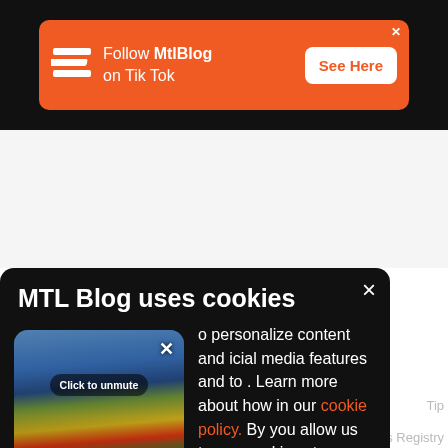[Figure (screenshot): Orange advertisement banner for MtlBlog TikTok with logo, text 'Follow MtlBlog on Tik Tok', and a white 'See Here' button. Black background bar at top.]
[Figure (screenshot): Dark cookie consent modal overlay on MTL Blog website with title 'MTL Blog uses cookies', text about personalizing content and cookie policy link in orange, a video thumbnail showing carnival performers with a 'Click to unmute' button, and a close X button.]